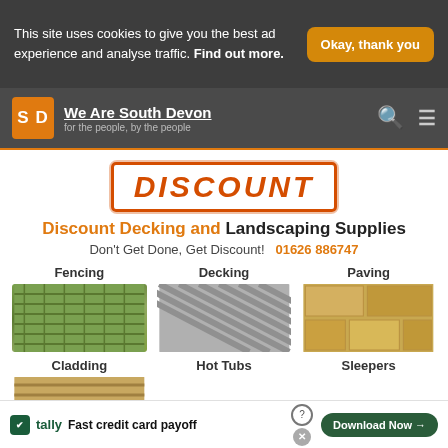This site uses cookies to give you the best ad experience and analyse traffic. Find out more.
Okay, thank you
[Figure (logo): We Are South Devon logo - orange SD square badge with site name and tagline 'for the people, by the people']
[Figure (illustration): DISCOUNT rubber stamp graphic in orange with distressed border]
Discount Decking and Landscaping Supplies
Don't Get Done, Get Discount!  01626 886747
Fencing
[Figure (photo): Photo of wooden garden fencing with lattice top]
Decking
[Figure (photo): Photo of gray composite decking boards]
Paving
[Figure (photo): Photo of sandstone paving slabs]
Cladding
Hot Tubs
Sleepers
[Figure (photo): Partial photo of wood cladding]
Fast credit card payoff
[Figure (logo): Tally app logo - green square with checkmark]
Download Now →